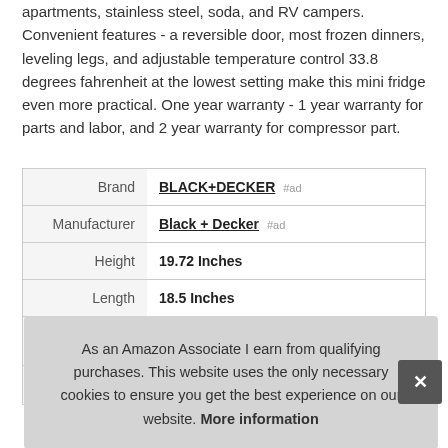apartments, stainless steel, soda, and RV campers. Convenient features - a reversible door, most frozen dinners, leveling legs, and adjustable temperature control 33.8 degrees fahrenheit at the lowest setting make this mini fridge even more practical. One year warranty - 1 year warranty for parts and labor, and 2 year warranty for compressor part.
|  |  |
| --- | --- |
| Brand | BLACK+DECKER #ad |
| Manufacturer | Black + Decker #ad |
| Height | 19.72 Inches |
| Length | 18.5 Inches |
| P |  |
|  |  |
As an Amazon Associate I earn from qualifying purchases. This website uses the only necessary cookies to ensure you get the best experience on our website. More information